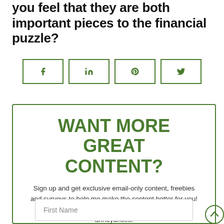you feel that they are both important pieces to the financial puzzle?
[Figure (infographic): Social sharing buttons for Facebook, LinkedIn, Pinterest, and Twitter with green borders]
WANT MORE GREAT CONTENT?
Sign up and get exclusive email-only content, freebies and surveys to help me make the content better for you! No BS, no spammy crap, and absolutely no daily annoyances.
First Name